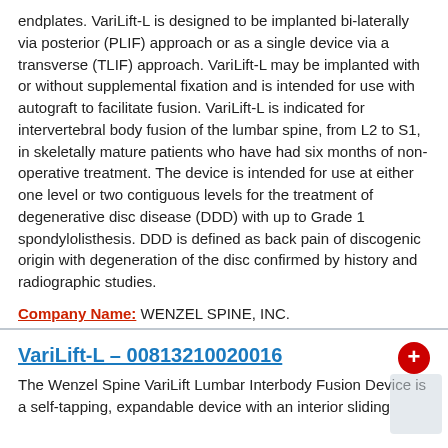endplates. VariLift-L is designed to be implanted bi-laterally via posterior (PLIF) approach or as a single device via a transverse (TLIF) approach. VariLift-L may be implanted with or without supplemental fixation and is intended for use with autograft to facilitate fusion. VariLift-L is indicated for intervertebral body fusion of the lumbar spine, from L2 to S1, in skeletally mature patients who have had six months of non-operative treatment. The device is intended for use at either one level or two contiguous levels for the treatment of degenerative disc disease (DDD) with up to Grade 1 spondylolisthesis. DDD is defined as back pain of discogenic origin with degeneration of the disc confirmed by history and radiographic studies.
Company Name: WENZEL SPINE, INC.
Version or Model: CIE2-15-24-00
VariLift-L – 00813210020016
The Wenzel Spine VariLift Lumbar Interbody Fusion Device is a self-tapping, expandable device with an interior sliding